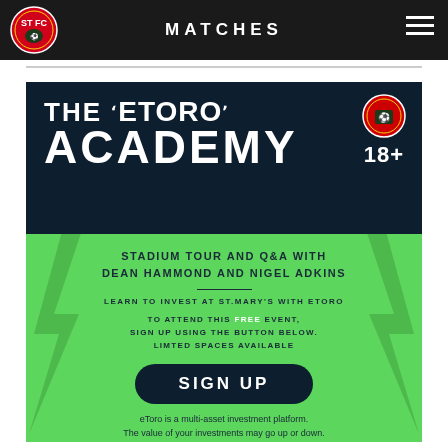MATCHES
[Figure (illustration): The eToro Academy promotional banner with Southampton FC branding. Dark navy top section showing 'THE eToro ACADEMY 18+' with Southampton FC crest. Green bottom section with event details for a stadium tour and Q&A with Dean Hammond and Nigel Adkins.]
THE eToro ACADEMY
18+
STADIUM TOUR AND Q&A WITH DEAN HAMMOND AND NIGEL ADKINS
LEARN TO INVEST AT ST.MARY'S WITH ETORO
TO ATTEND THIS FREE EVENT, SIGN UP USING THE BUTTON BELOW. LIMTED SPACES AVAILABLE
SIGN UP
eToro is a multi-asset investment platform. The value of your investments may go up or down. Your capital is at risk.